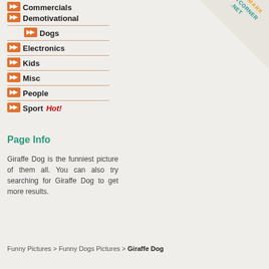Commercials
Demotivational
Dogs
Electronics
Kids
Misc
People
Sport Hot!
[Figure (logo): FunnyCorner.net Bookmark badge in top-right corner]
Page Info
Giraffe Dog is the funniest picture of them all. You can also try searching for Giraffe Dog to get more results.
Funny Pictures > Funny Dogs Pictures > Giraffe Dog